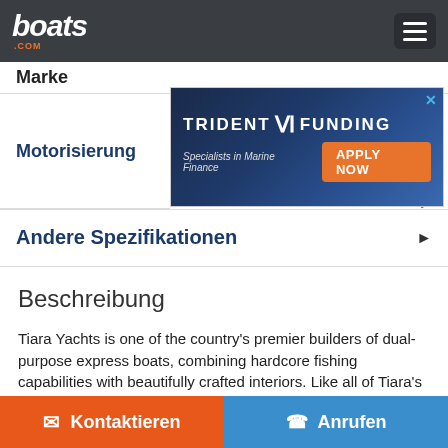boats.com
Marke
[Figure (other): Trident Funding advertisement banner - Specialists in Marine Finance, APPLY NOW button]
Motorisierung
Andere Spezifikationen
Beschreibung
Tiara Yachts is one of the country's premier builders of dual-purpose express boats, combining hardcore fishing capabilities with beautifully crafted interiors. Like all of Tiara's Open models, the 3800 could be ordered as a tournament-ready fishing machine or equipped with the cruising amenities of a comfortable family express. A huge U-shaped settee to starboard, opposite the galley, dominates
Kontaktieren  Anrufen